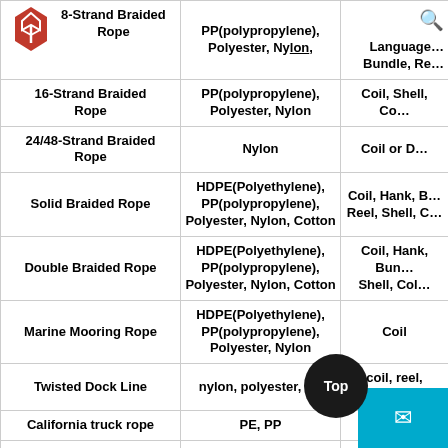| Product | Material | Packaging |
| --- | --- | --- |
| 8-Strand Braided Rope | PP(polypropylene), Polyester, Nylon, | Bundle, Re… |
| 16-Strand Braided Rope | PP(polypropylene), Polyester, Nylon | Coil, Shell, Co… |
| 24/48-Strand Braided Rope | Nylon | Coil or D… |
| Solid Braided Rope | HDPE(Polyethylene), PP(polypropylene), Polyester, Nylon, Cotton | Coil, Hank, B… Reel, Shell, C… |
| Double Braided Rope | HDPE(Polyethylene), PP(polypropylene), Polyester, Nylon, Cotton | Coil, Hank, Bun… Shell, Col… |
| Marine Mooring Rope | HDPE(Polyethylene), PP(polypropylene), Polyester, Nylon | Coil |
| Twisted Dock Line | nylon, polyester, PP | coil, reel, bund… |
| California truck rope | PE, PP | …andl… |
| Tow rope | PE, PP | …dl… |